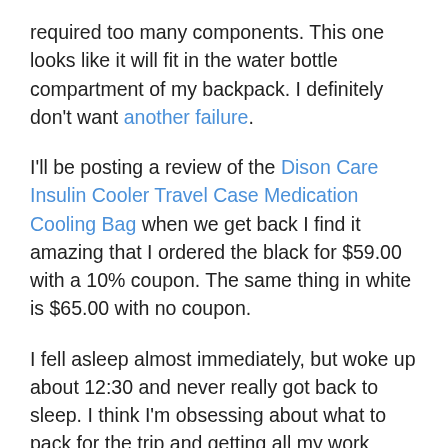required too many components.  This one looks like it will fit in the water bottle compartment of my backpack.  I definitely don't want another failure.
I'll be posting a review of the Dison Care Insulin Cooler Travel Case Medication Cooling Bag when we get back  I find it amazing that I ordered the black for $59.00 with a 10% coupon.  The same thing in white is $65.00 with no coupon.
I fell asleep almost immediately, but woke up about 12:30 and never really got back to sleep.  I think I'm obsessing about what to pack for the trip and getting all my work done that should be done before I go.  Also, an ear work of a handbell piece we're working on.
September 8